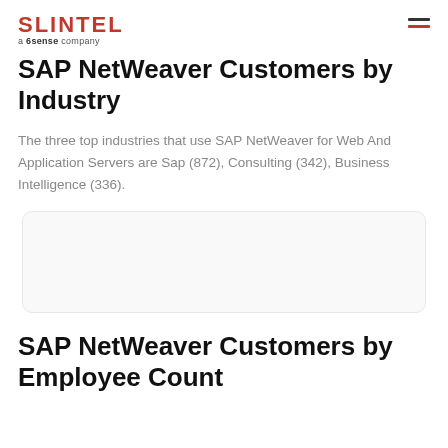SLINTEL a 6sense company
SAP NetWeaver Customers by Industry
The three top industries that use SAP NetWeaver for Web And Application Servers are Sap (872), Consulting (342), Business Intelligence (336).
[Figure (other): Empty chart placeholder box with light gray background and rounded corners]
SAP NetWeaver Customers by Employee Count